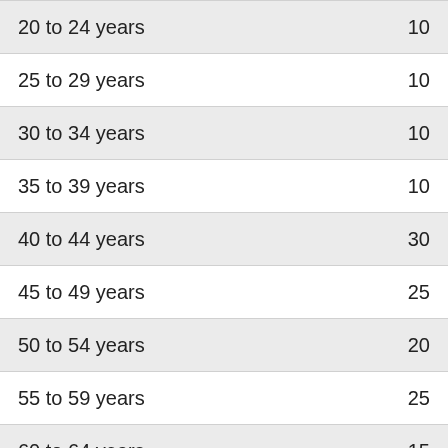| 20 to 24 years | 10 |
| 25 to 29 years | 10 |
| 30 to 34 years | 10 |
| 35 to 39 years | 10 |
| 40 to 44 years | 30 |
| 45 to 49 years | 25 |
| 50 to 54 years | 20 |
| 55 to 59 years | 25 |
| 60 to 64 years | 15 |
| 65 to 69 years | 15 |